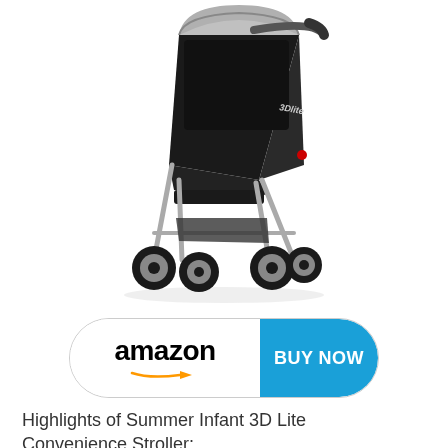[Figure (photo): Photo of Summer Infant 3D Lite Convenience Stroller, black with silver frame, shown at an angle with 4 wheels visible]
[Figure (infographic): Amazon 'BUY NOW' button: white rounded pill shape with 'amazon' logo and orange arrow on left, bright blue 'BUY NOW' on right]
Highlights of Summer Infant 3D Lite Convenience Stroller: